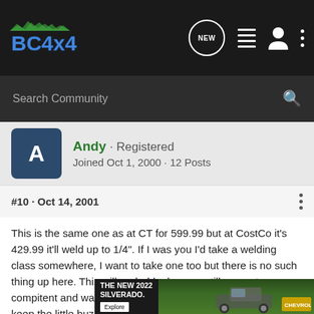BC4x4 - header navigation bar with logo, NEW, list, person, and more icons
Search Community
Andy · Registered
Joined Oct 1, 2000 · 12 Posts
#10 · Oct 14, 2001
This is the same one as at CT for 599.99 but at CostCo it's 429.99 it'll weld up to 1/4". If I was you I'd take a welding class somewhere, I want to take one too but there is no such thing up here. This will probably do you untill you get compitent and want a 220V and by then you'll still want to keep the little buzz box for small jobs, You can even buy an aluminum kit for this bad boy
[Figure (photo): Chevrolet advertisement banner showing THE NEW 2022 SILVERADO with truck image and Explore button]